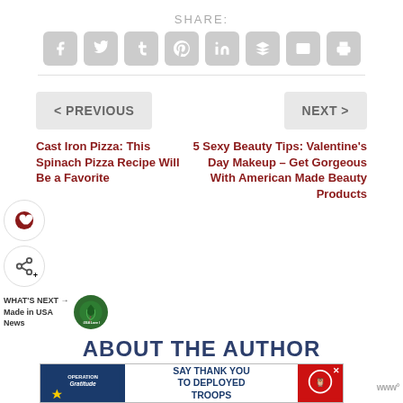SHARE:
[Figure (infographic): Row of 8 social share icon buttons (Facebook, Twitter, Tumblr, Pinterest, LinkedIn, Buffer, Email, Print) in light gray rounded square buttons]
< PREVIOUS
NEXT >
Cast Iron Pizza: This Spinach Pizza Recipe Will Be a Favorite
5 Sexy Beauty Tips: Valentine's Day Makeup – Get Gorgeous With American Made Beauty Products
WHAT'S NEXT → Made in USA News
ABOUT THE AUTHOR
[Figure (infographic): Operation Gratitude ad banner: Say Thank You To Deployed Troops]